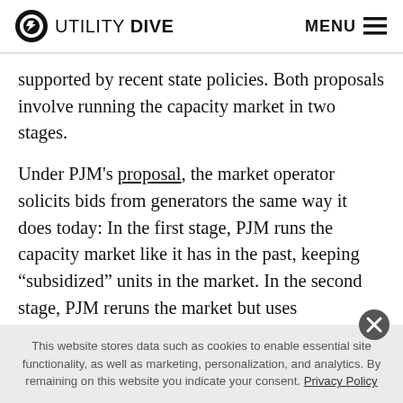UTILITY DIVE   MENU
supported by recent state policies. Both proposals involve running the capacity market in two stages.
Under PJM’s proposal, the market operator solicits bids from generators the same way it does today: In the first stage, PJM runs the capacity market like it has in the past, keeping “subsidized” units in the market. In the second stage, PJM reruns the market but uses administratively determined prices that add back state subsidies, raising
This website stores data such as cookies to enable essential site functionality, as well as marketing, personalization, and analytics. By remaining on this website you indicate your consent. Privacy Policy